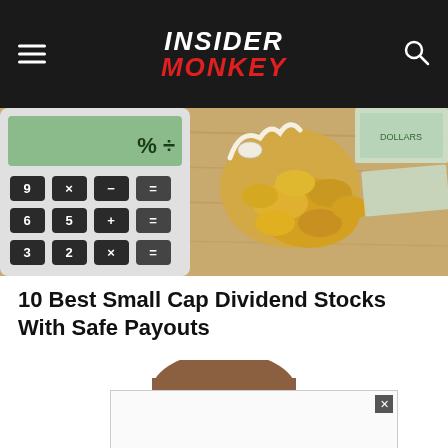INSIDER MONKEY
[Figure (photo): Calculator with coins in a drawstring money bag and dollar bills on a wooden surface]
10 Best Small Cap Dividend Stocks With Safe Payouts
[Figure (illustration): Caricature illustration of a middle-aged man with brown hair, blue eyes, looking straight at viewer]
[Figure (other): Advertisement overlay box with close (x) button in top right corner]